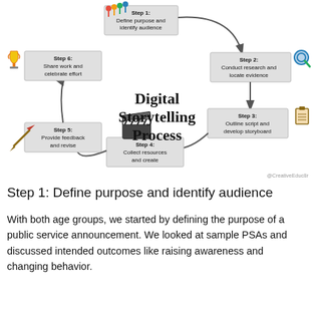[Figure (flowchart): Circular flowchart showing the Digital Storytelling Process with 6 steps: Step 1: Define purpose and identify audience (top, with people icon), Step 2: Conduct research and locate evidence (top-right, with magnifying glass icon), Step 3: Outline script and develop storyboard (right, with clipboard icon), Step 4: Collect resources and create (bottom-center, with clapperboard icon), Step 5: Provide feedback and revise (left, with pencil icon), Step 6: Share work and celebrate effort (top-left, with trophy icon). Arrows connect steps clockwise. Center text reads 'Digital Storytelling Process'. Watermark: @CreativeEduc8r]
Step 1: Define purpose and identify audience
With both age groups, we started by defining the purpose of a public service announcement. We looked at sample PSAs and discussed intended outcomes like raising awareness and changing behavior.